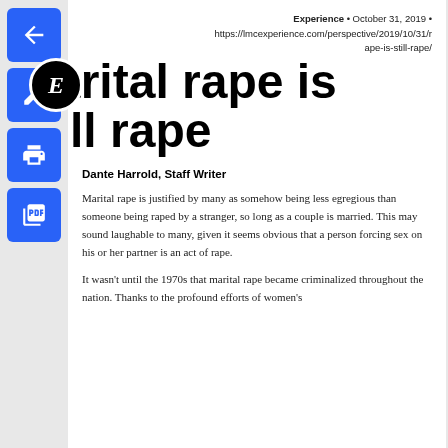Experience • October 31, 2019 • https://lmcexperience.com/perspective/2019/10/31/rape-is-still-rape/
Marital rape is still rape
Dante Harrold, Staff Writer
Marital rape is justified by many as somehow being less egregious than someone being raped by a stranger, so long as a couple is married. This may sound laughable to many, given it seems obvious that a person forcing sex on his or her partner is an act of rape.
It wasn't until the 1970s that marital rape became criminalized throughout the nation. Thanks to the profound efforts of women's